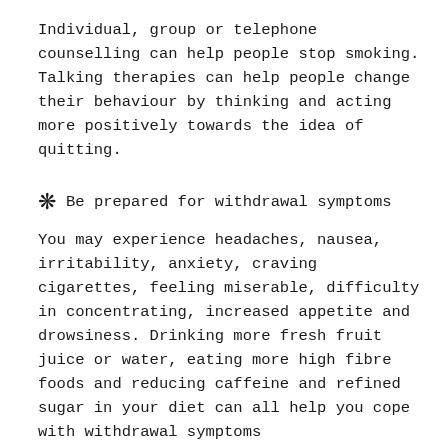Individual, group or telephone counselling can help people stop smoking. Talking therapies can help people change their behaviour by thinking and acting more positively towards the idea of quitting.
❋  Be prepared for withdrawal symptoms
You may experience headaches, nausea, irritability, anxiety, craving cigarettes, feeling miserable, difficulty in concentrating, increased appetite and drowsiness. Drinking more fresh fruit juice or water, eating more high fibre foods and reducing caffeine and refined sugar in your diet can all help you cope with withdrawal symptoms
Watch the video attached to find out what happens to the body once an individual quits smoking.